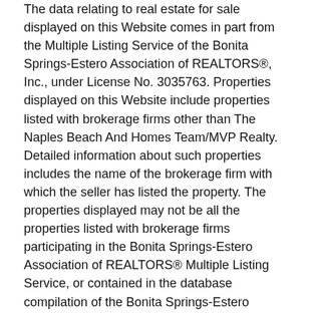The data relating to real estate for sale displayed on this Website comes in part from the Multiple Listing Service of the Bonita Springs-Estero Association of REALTORS®, Inc., under License No. 3035763. Properties displayed on this Website include properties listed with brokerage firms other than The Naples Beach And Homes Team/MVP Realty. Detailed information about such properties includes the name of the brokerage firm with which the seller has listed the property. The properties displayed may not be all the properties listed with brokerage firms participating in the Bonita Springs-Estero Association of REALTORS® Multiple Listing Service, or contained in the database compilation of the Bonita Springs-Estero Association of REALTORS® Multiple Listing Service. Data last updated 2022-09-01T10:28:14.6.
BoomTown! © 2022 | Terms of Use | Privacy Policy | Accessibility | DMCA | Listings Sitemap
Take a Tour | Ask A Question